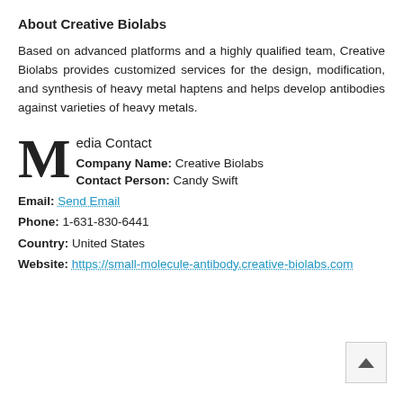About Creative Biolabs
Based on advanced platforms and a highly qualified team, Creative Biolabs provides customized services for the design, modification, and synthesis of heavy metal haptens and helps develop antibodies against varieties of heavy metals.
Media Contact
Company Name: Creative Biolabs
Contact Person: Candy Swift
Email: Send Email
Phone: 1-631-830-6441
Country: United States
Website: https://small-molecule-antibody.creative-biolabs.com